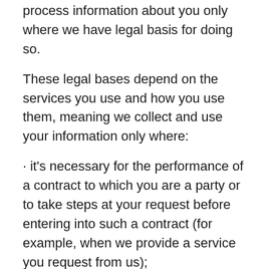process information about you only where we have legal basis for doing so.
These legal bases depend on the services you use and how you use them, meaning we collect and use your information only where:
· it's necessary for the performance of a contract to which you are a party or to take steps at your request before entering into such a contract (for example, when we provide a service you request from us);
· it satisfies a legitimate interest (which is not overridden by your data protection interests), such as for research and development, to market and promote our services, and to protect our legal rights and interests;
· you give us consent to do so for a specific purpose (for example, you might consent to us sending you our newsletter); or